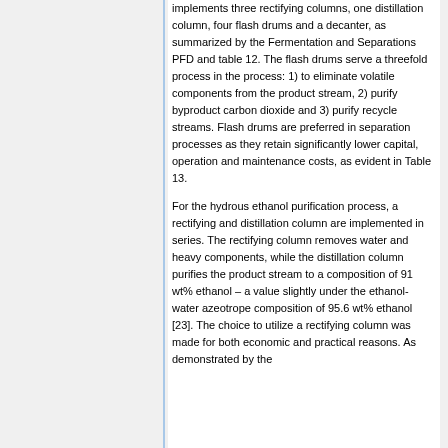implements three rectifying columns, one distillation column, four flash drums and a decanter, as summarized by the Fermentation and Separations PFD and table 12. The flash drums serve a threefold process in the process: 1) to eliminate volatile components from the product stream, 2) purify byproduct carbon dioxide and 3) purify recycle streams. Flash drums are preferred in separation processes as they retain significantly lower capital, operation and maintenance costs, as evident in Table 13.
For the hydrous ethanol purification process, a rectifying and distillation column are implemented in series. The rectifying column removes water and heavy components, while the distillation column purifies the product stream to a composition of 91 wt% ethanol – a value slightly under the ethanol-water azeotrope composition of 95.6 wt% ethanol [23]. The choice to utilize a rectifying column was made for both economic and practical reasons. As demonstrated by the